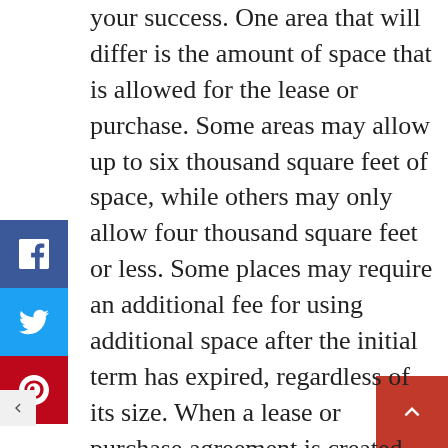your success. One area that will differ is the amount of space that is allowed for the lease or purchase. Some areas may allow up to six thousand square feet of space, while others may only allow four thousand square feet or less. Some places may require an additional fee for using additional space after the initial term has expired, regardless of its size. When a lease or purchase agreement is created, one of the first items discussed is the length of the lease or purchase. This is the critical question that will affect how much you will pay for the property. Usually, leases are for five years, although many commercial properties have a thirty-